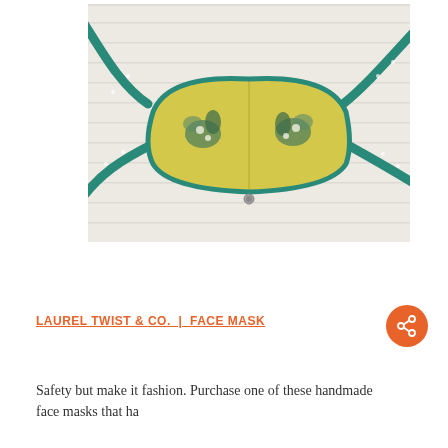[Figure (photo): A handmade fabric face mask with yellow honeycomb pattern and floral print, laid flat on a white wood surface. Teal/green fabric ties extend outward from both sides of the mask.]
LAUREL TWIST & CO.  |  FACE MASK
Safety but make it fashion. Purchase one of these handmade face masks that have...